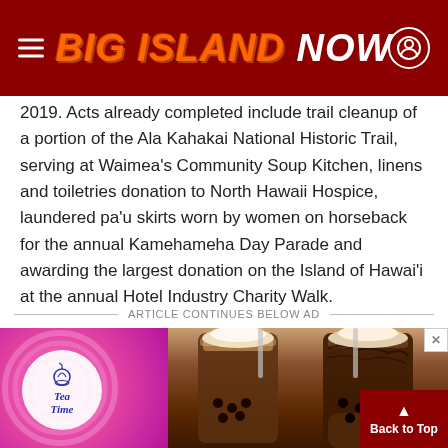BIG ISLAND NOW
2019. Acts already completed include trail cleanup of a portion of the Ala Kahakai National Historic Trail, serving at Waimea's Community Soup Kitchen, linens and toiletries donation to North Hawaii Hospice, laundered pa'u skirts worn by women on horseback for the annual Kamehameha Day Parade and awarding the largest donation on the Island of Hawai'i at the annual Hotel Industry Charity Walk.
ARTICLE CONTINUES BELOW AD
[Figure (photo): Advertisement for Tea Time bubble tea shop showing two large iced drinks (boba/bubble tea) with chocolate drizzle against a pink swirly background with a white circle logo.]